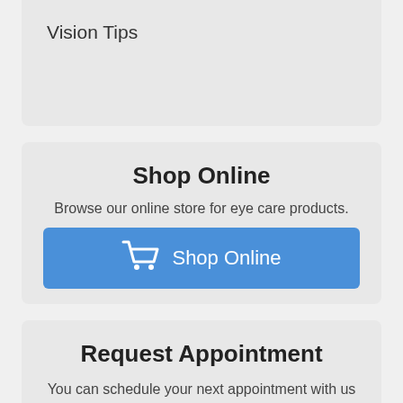Vision Tips
Shop Online
Browse our online store for eye care products.
[Figure (infographic): Blue button with shopping cart icon and text 'Shop Online']
Request Appointment
You can schedule your next appointment with us online!
[Figure (infographic): Blue button partially visible with calendar icon, cut off at bottom of page]